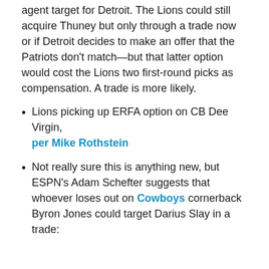agent target for Detroit. The Lions could still acquire Thuney but only through a trade now or if Detroit decides to make an offer that the Patriots don't match—but that latter option would cost the Lions two first-round picks as compensation. A trade is more likely.
Lions picking up ERFA option on CB Dee Virgin, per Mike Rothstein
Not really sure this is anything new, but ESPN's Adam Schefter suggests that whoever loses out on Cowboys cornerback Byron Jones could target Darius Slay in a trade: